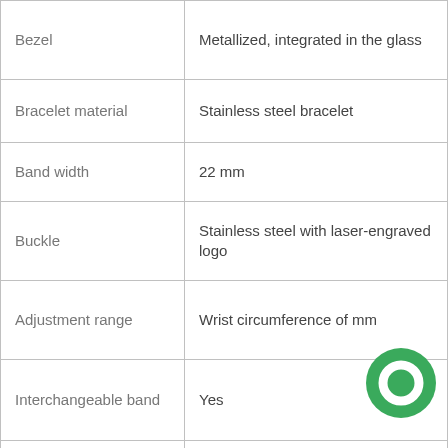| Property | Value |
| --- | --- |
| Bezel | Metallized, integrated in the glass |
| Bracelet material | Stainless steel bracelet |
| Band width | 22 mm |
| Buckle | Stainless steel with laser-engraved logo |
| Adjustment range | Wrist circumference of mm |
| Interchangeable band | Yes |
| Gender | Male |
| Swiss made | Hand-assembled in Switzerland |